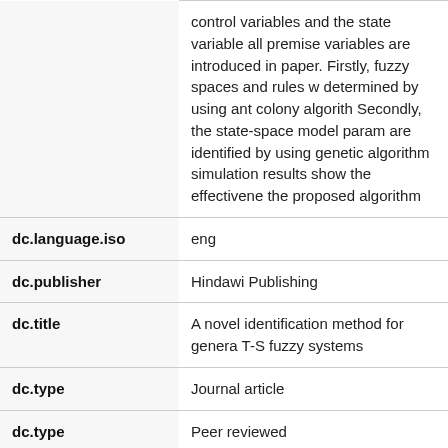| Field | Value |
| --- | --- |
|  | control variables and the state variables all premise variables are introduced in paper. Firstly, fuzzy spaces and rules w determined by using ant colony algorith Secondly, the state-space model param are identified by using genetic algorithm simulation results show the effectivene the proposed algorithm |
| dc.language.iso | eng |
| dc.publisher | Hindawi Publishing |
| dc.title | A novel identification method for genera T-S fuzzy systems |
| dc.type | Journal article |
| dc.type | Peer reviewed |
| dc.subject.nsi | VDP::Technology: 500 |
| dc.subject.nsi | VDP::Mathematics and natural science 400::Mathematics: 410::Applied mathe |